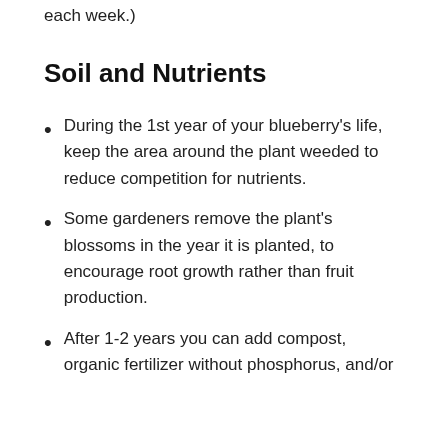each week.)
Soil and Nutrients
During the 1st year of your blueberry’s life, keep the area around the plant weeded to reduce competition for nutrients.
Some gardeners remove the plant’s blossoms in the year it is planted, to encourage root growth rather than fruit production.
After 1-2 years you can add compost, organic fertilizer without phosphorus, and/or